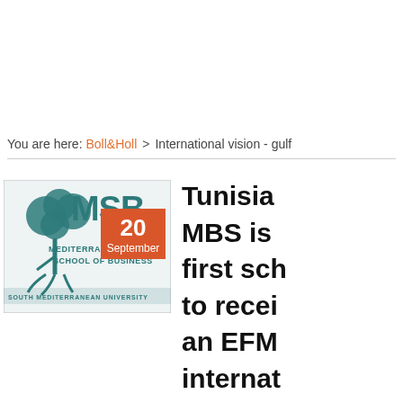You are here: Boll&Holl > International vision - gulf
[Figure (logo): Mediterranean School of Business (MSB) logo with tree illustration and text 'MEDITERRANEAN SCHOOL OF BUSINESS, SOUTH MEDITERRANEAN UNIVERSITY', with an orange date badge showing '20 September']
Tunisia MBS is first sch to recei an EFM internat